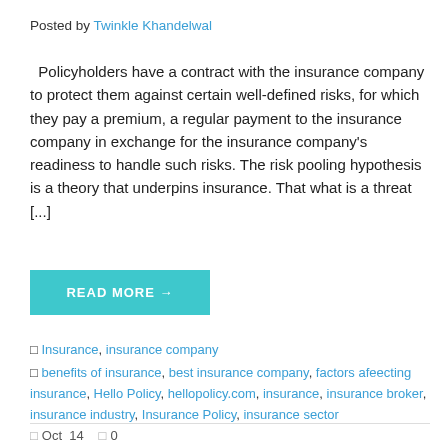Posted by Twinkle Khandelwal
Policyholders have a contract with the insurance company to protect them against certain well-defined risks, for which they pay a premium, a regular payment to the insurance company in exchange for the insurance company's readiness to handle such risks. The risk pooling hypothesis is a theory that underpins insurance. That what is a threat [...]
READ MORE →
◻ Insurance, insurance company
◻ benefits of insurance, best insurance company, factors afeecting insurance, Hello Policy, hellopolicy.com, insurance, insurance broker, insurance industry, Insurance Policy, insurance sector
◻ Oct  14   ◻ 0